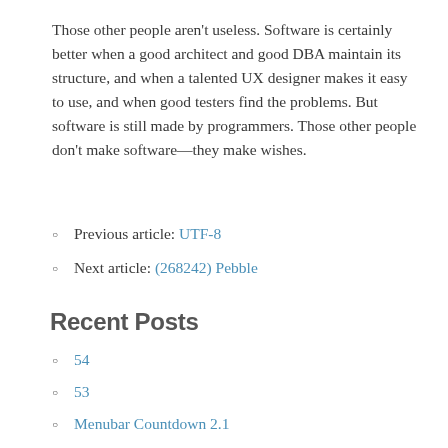Those other people aren't useless. Software is certainly better when a good architect and good DBA maintain its structure, and when a talented UX designer makes it easy to use, and when good testers find the problems. But software is still made by programmers. Those other people don't make software—they make wishes.
Previous article: UTF-8
Next article: (268242) Pebble
Recent Posts
54
53
Menubar Countdown 2.1
LUNAR for C and Rust